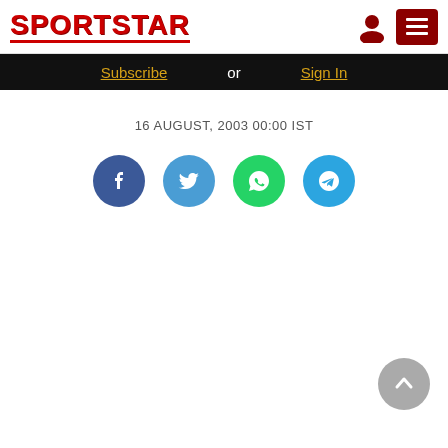SPORTSTAR
Subscribe or Sign In
16 AUGUST, 2003 00:00 IST
[Figure (infographic): Social share buttons: Facebook, Twitter, WhatsApp, Telegram]
[Figure (illustration): Scroll to top arrow button (gray circle with upward chevron)]